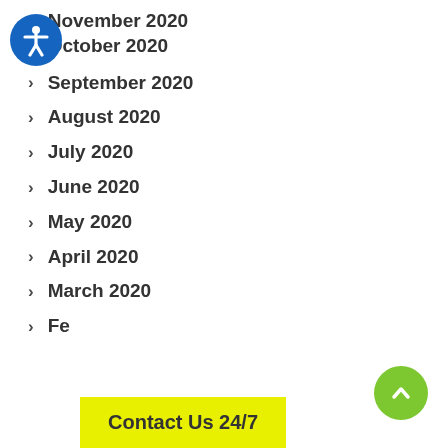November 2020
October 2020
September 2020
August 2020
July 2020
June 2020
May 2020
April 2020
March 2020
Fe[bruary 2020]
[Figure (logo): Blue circular accessibility icon with white person figure]
[Figure (other): Green circular scroll-to-top button with white upward chevron]
Contact Us 24/7